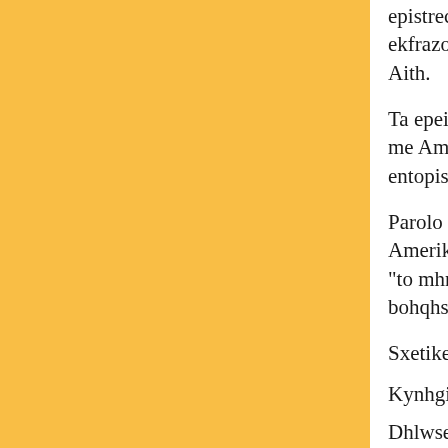epistrece sthn Kurdisthn gia na episkerqei th ekfrazontai foboi oti mporei na prokalesei kli Aith.
Ta epeisodia anaferqhkan thn wra poy andres me Amerikanoys kai Galloys pezonaytes arxi entopismo apoqhkwn me opla .
Parolo poy oi ereynes aytes den apedwsan ka Amerikanwn pezonaytwn syntagmatarxhs M "to mhnyma ayths ths epixeirhshs einai pws e bohqhsoyme sth meiwsh ths oplokatoxhs".
Sxetikes Eidhseis:
Kynhgi oplwn sthn Aith
Dhlwseis Anan kai Paoyel gia thn Aith
Pyra kata diadhlwtwn sto Port- o- Prens
[05] Eswterika
"Kamia sxesh me tromokratia" Treno pagide Qes/nikh